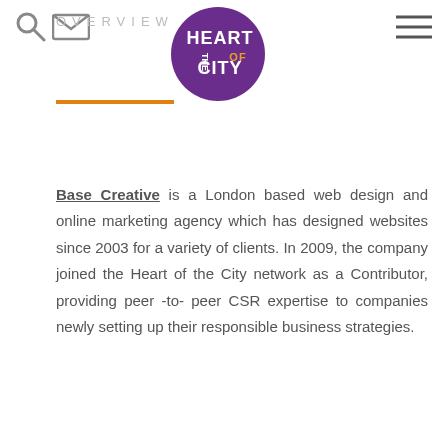OVERVIEW
[Figure (logo): Heart of the City circular logo — purple circle with 'HEART OF THE CITY' text and orange 'OF' accent]
Base Creative is a London based web design and online marketing agency which has designed websites since 2003 for a variety of clients. In 2009, the company joined the Heart of the City network as a Contributor, providing peer -to- peer CSR expertise to companies newly setting up their responsible business strategies.